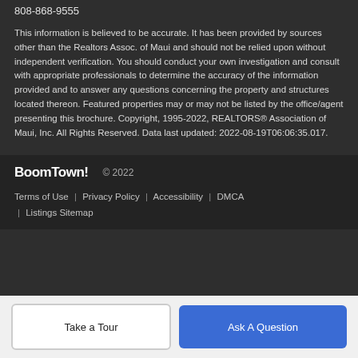808-868-9555
This information is believed to be accurate. It has been provided by sources other than the Realtors Assoc. of Maui and should not be relied upon without independent verification. You should conduct your own investigation and consult with appropriate professionals to determine the accuracy of the information provided and to answer any questions concerning the property and structures located thereon. Featured properties may or may not be listed by the office/agent presenting this brochure. Copyright, 1995-2022, REALTORS® Association of Maui, Inc. All Rights Reserved. Data last updated: 2022-08-19T06:06:35.017.
BoomTown! © 2022
Terms of Use | Privacy Policy | Accessibility | DMCA | Listings Sitemap
Take a Tour
Ask A Question